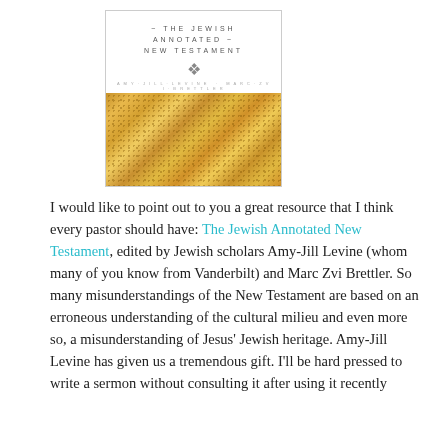[Figure (photo): Book cover of 'The Jewish Annotated New Testament' with white upper half showing the title in spaced uppercase letters and a gold/amber mosaic-patterned lower half]
I would like to point out to you a great resource that I think every pastor should have: The Jewish Annotated New Testament, edited by Jewish scholars Amy-Jill Levine (whom many of you know from Vanderbilt) and Marc Zvi Brettler. So many misunderstandings of the New Testament are based on an erroneous understanding of the cultural milieu and even more so, a misunderstanding of Jesus' Jewish heritage. Amy-Jill Levine has given us a tremendous gift. I'll be hard pressed to write a sermon without consulting it after using it recently